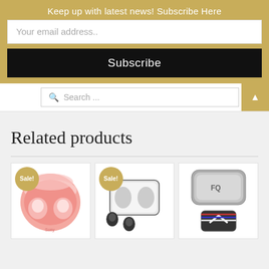Keep up with latest news! Subscribe Here
Your email address..
Subscribe
Search ...
Related products
[Figure (photo): Pink wireless earbuds in open pink charging case with Sale! badge]
[Figure (photo): Black wireless earbuds next to open white/black charging case with Sale! badge]
[Figure (photo): Silver metallic charging case above a sports earphone clip device]